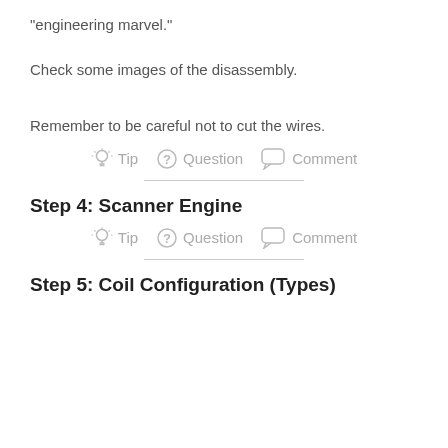"engineering marvel."
Check some images of the disassembly.
Remember to be careful not to cut the wires.
Tip   Question   Comment
Step 4: Scanner Engine
Tip   Question   Comment
Step 5: Coil Configuration (Types)